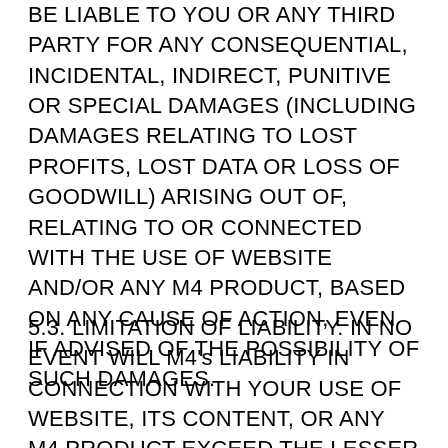BE LIABLE TO YOU OR ANY THIRD PARTY FOR ANY CONSEQUENTIAL, INCIDENTAL, INDIRECT, PUNITIVE OR SPECIAL DAMAGES (INCLUDING DAMAGES RELATING TO LOST PROFITS, LOST DATA OR LOSS OF GOODWILL) ARISING OUT OF, RELATING TO OR CONNECTED WITH THE USE OF WEBSITE AND/OR ANY M4 PRODUCT, BASED ON ANY CAUSE OF ACTION, EVEN IF ADVISED OF THE POSSIBILITY OF SUCH DAMAGES.
5.3. LIMITATION OF LIABILITY. IN NO EVENT WILL M4's LIABILITY IN CONNECTION WITH YOUR USE OF WEBSITE, ITS CONTENT, OR ANY M4 PRODUCT EXCEED THE LESSER OF (i) THE AMOUNT PAID TO M4 BY YOU